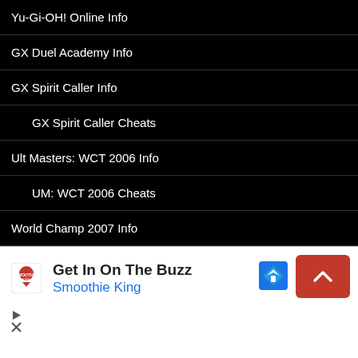Yu-Gi-OH! Online Info
GX Duel Academy Info
GX Spirit Caller Info
GX Spirit Caller Cheats
Ult Masters: WCT 2006 Info
UM: WCT 2006 Cheats
World Champ 2007 Info
World Champ 2007 Cheats
GX Card Almanac Info
[Figure (screenshot): Advertisement banner for Smoothie King with text 'Get In On The Buzz' and 'Smoothie King', plus navigation button and map icon]